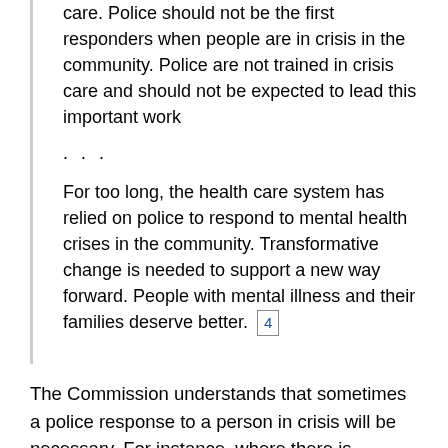care. Police should not be the first responders when people are in crisis in the community. Police are not trained in crisis care and should not be expected to lead this important work
. . .
For too long, the health care system has relied on police to respond to mental health crises in the community. Transformative change is needed to support a new way forward. People with mental illness and their families deserve better. [4]
The Commission understands that sometimes a police response to a person in crisis will be necessary. For instance, where there is concurrent criminality or a clear risk to public safety. In that sense, the RCMP’s role is an important one, but not the only one. Mental health professionals should be leading the response, with police providing support as necessary.